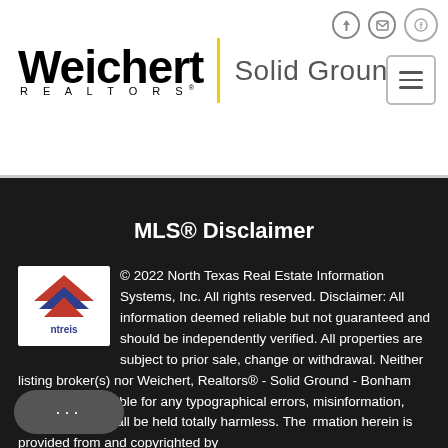[Figure (logo): Weichert Realtors Solid Ground logo with yellow vertical bar separator]
MLS® Disclaimer
© 2022 North Texas Real Estate Information Systems, Inc. All rights reserved. Disclaimer: All information deemed reliable but not guaranteed and should be independently verified. All properties are subject to prior sale, change or withdrawal. Neither listing broker(s) nor Weichert, Realtors® - Solid Ground - Bonham shall be responsible for any typographical errors, misinformation, misprints and shall be held totally harmless. The information herein is provided from and copyrighted by re...